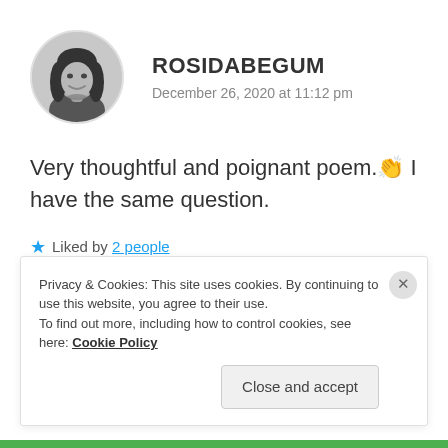[Figure (photo): Black and white circular avatar photo of a woman with long dark hair, smiling]
ROSIDABEGUM
December 26, 2020 at 11:12 pm
Very thoughtful and poignant poem. 👏 I have the same question.
★ Liked by 2 people
REPLY
Privacy & Cookies: This site uses cookies. By continuing to use this website, you agree to their use. To find out more, including how to control cookies, see here: Cookie Policy
Close and accept